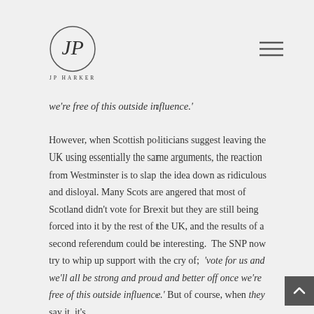JP HARKER
we're free of this outside influence.'
However, when Scottish politicians suggest leaving the UK using essentially the same arguments, the reaction from Westminster is to slap the idea down as ridiculous and disloyal. Many Scots are angered that most of Scotland didn't vote for Brexit but they are still being forced into it by the rest of the UK, and the results of a second referendum could be interesting. The SNP now try to whip up support with the cry of; 'vote for us and we'll all be strong and proud and better off once we're free of this outside influence.' But of course, when they say it, it's